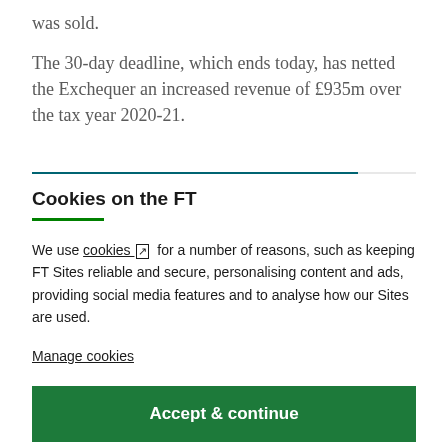was sold.
The 30-day deadline, which ends today, has netted the Exchequer an increased revenue of £935m over the tax year 2020-21.
Cookies on the FT
We use cookies ↗ for a number of reasons, such as keeping FT Sites reliable and secure, personalising content and ads, providing social media features and to analyse how our Sites are used.
Manage cookies
Accept & continue